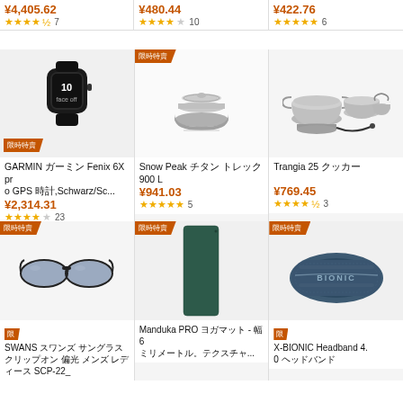¥4,405.62 ★★★★½ 7
¥480.44 ★★★★☆ 10
¥422.76 ★★★★★ 6
[Figure (photo): GARMIN watch (Fenix 6X Pro GPS) - black smartwatch]
[Figure (photo): Snow Peak stacking bowl - silver metal bowl set L size]
[Figure (photo): Trangia 25 cookset - aluminum pot set with kettle]
GARMIN ガーミン Fenix 6X pro GPS 時計,Schwarz/Sc...
¥2,314.31
★★★★☆ 23
Snow Peak チタン トレック900 L
¥941.03
★★★★★ 5
Trangia 25 クッカー
¥769.45
★★★★½ 3
[Figure (photo): SWANS clip-on sunglasses - grey lens clip-on style SCP-22]
[Figure (photo): Manduka PRO yoga mat - dark green mat]
[Figure (photo): X-BIONIC Headband 4.0 - blue textured headband]
SWANS スワンズ サングラス クリップオン 偏光 メンズ レディース SCP-22_
Manduka PRO ヨガマット - 幅 6 ミリメートル。テクスチャ...
X-BIONIC Headband 4.0 ヘッドバンド